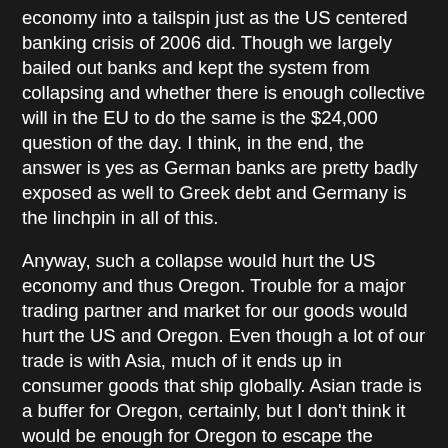economy into a tailspin just as the US centered banking crisis of 2006 did.  Though we largely bailed out banks and kept the system from collapsing and whether there is enough collective will in the EU to do the same is the $24,000 question of the day.  I think, in the end, the answer is yes as German banks are pretty badly exposed as well to Greek debt and Germany is the linchpin in all of this.
Anyway, such a collapse would hurt the US economy and thus Oregon.  Trouble for a major trading partner and market for our goods would hurt the US and Oregon.  Even though a lot of our trade is with Asia, much of it ends up in consumer goods that ship globally.  Asian trade is a buffer for Oregon, certainly, but I don't think it would be enough for Oregon to escape the effects of a European crisis.  In addition, an already difficult credit situation would be made worse by the European banks plight. So that will affect the US economy and thus the Oregon economy.
My e-mailer also asks about the muni bond market.  Here I think it is hard to know what will happen.  US muni bonds are under duress right now due to the recession's impact on